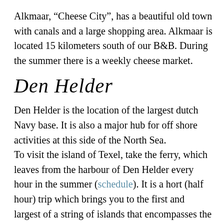Alkmaar, “Cheese City”, has a beautiful old town with canals and a large shopping area. Alkmaar is located 15 kilometers south of our B&B. During the summer there is a weekly cheese market.
Den Helder
Den Helder is the location of the largest dutch Navy base. It is also a major hub for off shore activities at this side of the North Sea.
To visit the island of Texel, take the ferry, which leaves from the harbour of Den Helder every hour in the summer (schedule). It is a hort (half hour) trip which brings you to the first and largest of a string of islands that encompasses the “Waddenzee”, a